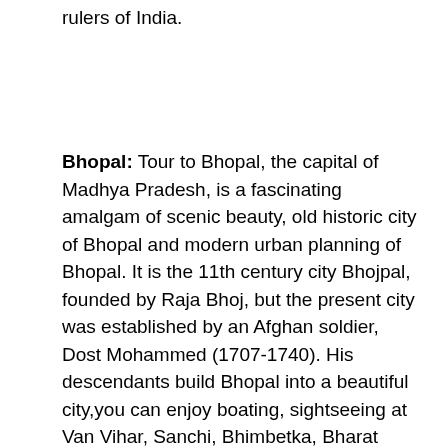rulers of India.
Bhopal: Tour to Bhopal, the capital of Madhya Pradesh, is a fascinating amalgam of scenic beauty, old historic city of Bhopal and modern urban planning of Bhopal. It is the 11th century city Bhojpal, founded by Raja Bhoj, but the present city was established by an Afghan soldier, Dost Mohammed (1707-1740). His descendants build Bhopal into a beautiful city,you can enjoy boating, sightseeing at Van Vihar, Sanchi, Bhimbetka, Bharat bhawan etc. Enjoy ropeway. Drive at marine drive in evening is awesome. Other Destinations : We also arrange budget & luxury tour packages to the picturesque Himachal Pradesh,Uttarakhand ,Goa and South India. These areas